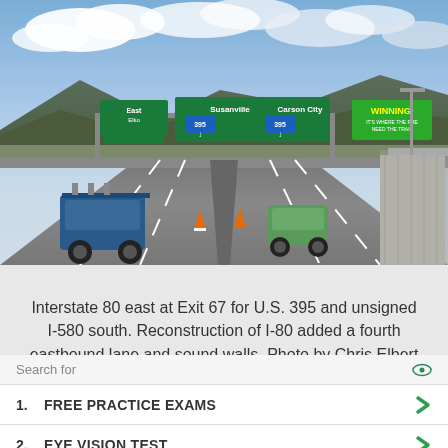[Figure (photo): Highway photo showing Interstate 80 east at Exit 67 for U.S. 395 and unsigned I-580 south. Green overhead highway signs visible reading Susanville, Carson City (US 395), and a WINNING billboard. Road construction cones visible. Several vehicles on multi-lane highway.]
Interstate 80 east at Exit 67 for U.S. 395 and unsigned I-580 south. Reconstruction of I-80 added a fourth eastbound lane and sound walls. Photo by Chris Elbert (03/19/05).
Search for
1.  FREE PRACTICE EXAMS
2.  EYE VISION TEST